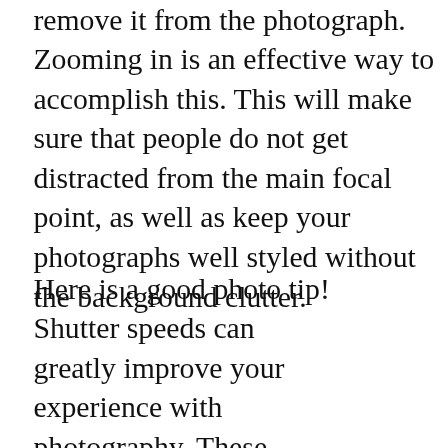remove it from the photograph. Zooming in is an effective way to accomplish this. This will make sure that people do not get distracted from the main focal point, as well as keep your photographs well styled without the background clutter.
Here is a good photo tip! Shutter speeds can greatly improve your experience with photography. These shutter speeds are indicated by the letters P, A, S and M. The “P” on the camera represents program mode. This setting is your
TIP! Discrimination is a vital skill for a good photographer; when you are going to show off photos you’ve taken, present only your very best work. Don’t show everyone or all of the exact